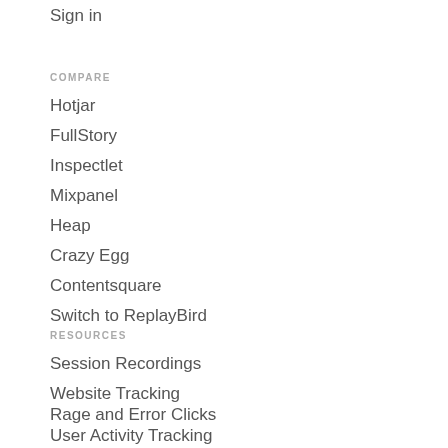Sign in
COMPARE
Hotjar
FullStory
Inspectlet
Mixpanel
Heap
Crazy Egg
Contentsquare
Switch to ReplayBird
RESOURCES
Session Recordings
Website Tracking
Rage and Error Clicks
User Activity Tracking
Usability Testing